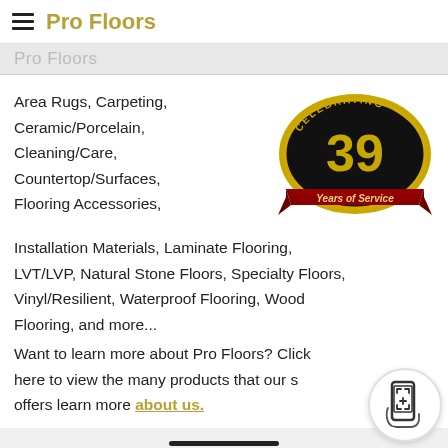Pro Floors
Pro Floors
Area Rugs, Carpeting, Ceramic/Porcelain, Cleaning/Care, Countertop/Surfaces, Flooring Accessories, Installation Materials, Laminate Flooring, LVT/LVP, Natural Stone Floors, Specialty Floors, Vinyl/Resilient, Waterproof Flooring, Wood Flooring, and more...
[Figure (logo): Black oval badge with gold border reading 'CELEBRATING 39 Years of Service' with red ribbon banner]
Want to learn more about Pro Floors? Click here to view the many products that our s offers learn more about us.
[Figure (illustration): Circular phone scan/QR button icon in bottom right corner]